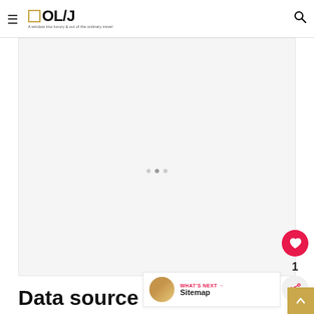☰ □OL/J — A window into luxury & out of the ordinary travel
[Figure (photo): Large light gray image placeholder area with three small gray dots in the center]
1
WHAT'S NEXT → Sitemap
Data source